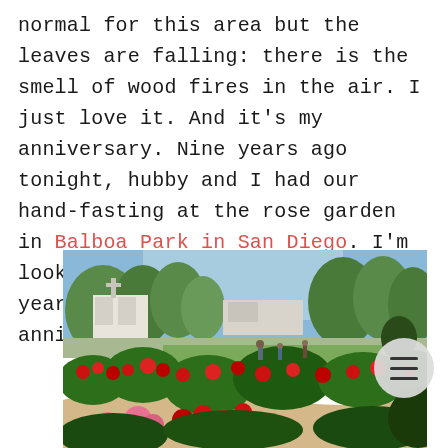normal for this area but the leaves are falling: there is the smell of wood fires in the air. I just love it. And it's my anniversary. Nine years ago tonight, hubby and I had our hand-fasting at the rose garden in Balboa Park in San Diego. I'm looking forward to many many more years, my love. Happy anniversary.
[Figure (photo): Outdoor photo of a rose garden at Balboa Park in San Diego, showing colorful red and pink roses in the foreground with a curved pathway, green lawn, trees, and park buildings in the background under a blue sky. A circular menu icon overlay appears in the lower right.]